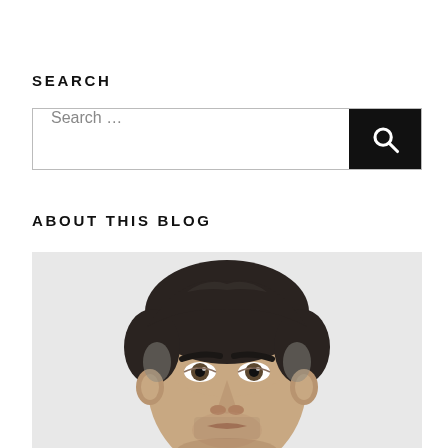SEARCH
Search ...
ABOUT THIS BLOG
[Figure (photo): Portrait photo of a middle-aged man with dark hair and stubble, light background, cropped at chin level]